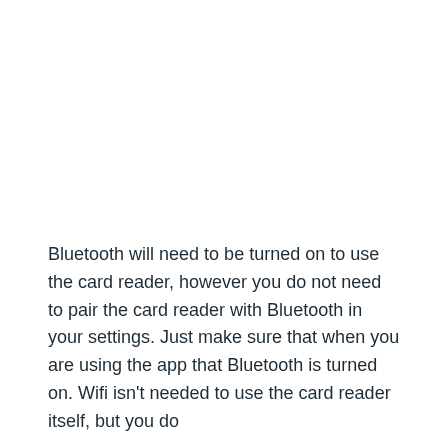Bluetooth will need to be turned on to use the card reader, however you do not need to pair the card reader with Bluetooth in your settings. Just make sure that when you are using the app that Bluetooth is turned on. Wifi isn't needed to use the card reader itself, but you do